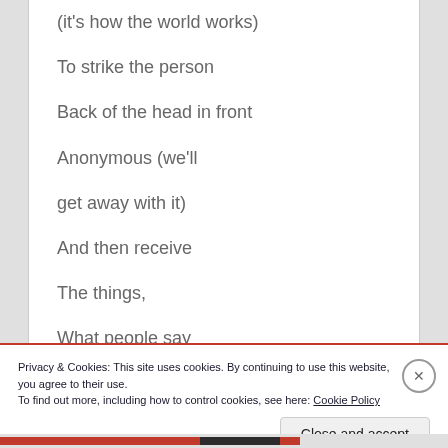(it's how the world works)
To strike the person
Back of the head in front
Anonymous (we'll
get away with it)
And then receive
The things,
What people say
We're due
Privacy & Cookies: This site uses cookies. By continuing to use this website, you agree to their use.
To find out more, including how to control cookies, see here: Cookie Policy